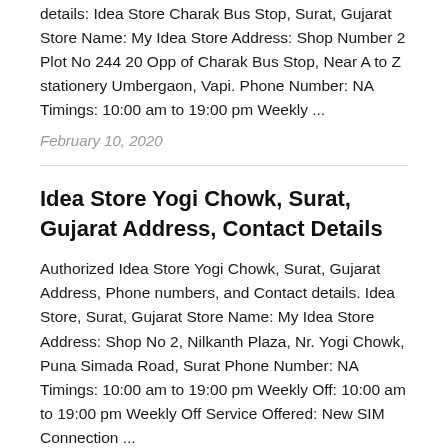details: Idea Store Charak Bus Stop, Surat, Gujarat Store Name: My Idea Store Address: Shop Number 2 Plot No 244 20 Opp of Charak Bus Stop, Near A to Z stationery Umbergaon, Vapi. Phone Number: NA Timings: 10:00 am to 19:00 pm Weekly ...
February 10, 2020
Idea Store Yogi Chowk, Surat, Gujarat Address, Contact Details
Authorized Idea Store Yogi Chowk, Surat, Gujarat Address, Phone numbers, and Contact details. Idea Store, Surat, Gujarat Store Name: My Idea Store Address: Shop No 2, Nilkanth Plaza, Nr. Yogi Chowk, Puna Simada Road, Surat Phone Number: NA Timings: 10:00 am to 19:00 pm Weekly Off: 10:00 am to 19:00 pm Weekly Off Service Offered: New SIM Connection ...